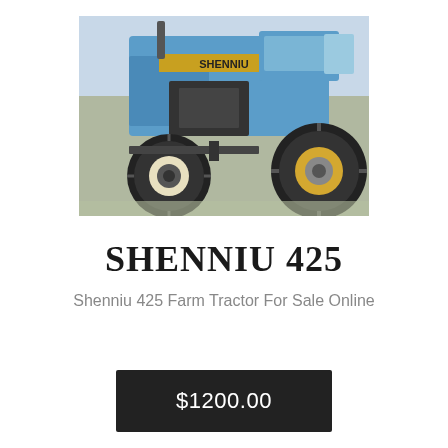[Figure (photo): Blue Shenniu 425 farm tractor photographed outdoors on gravel/grass ground, showing front and side view with large black tires and yellow wheel hubs.]
SHENNIU 425
Shenniu 425 Farm Tractor For Sale Online
$1200.00